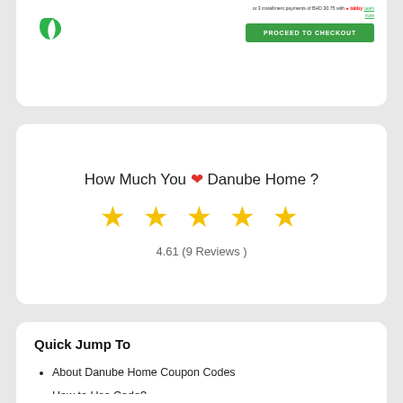[Figure (screenshot): Partial screenshot of a checkout area with a green logo mark, small text about installment payments, and a green 'PROCEED TO CHECKOUT' button]
How Much You ❤ Danube Home ?
[Figure (other): Five yellow star rating icons]
4.61 (9 Reviews )
Quick Jump To
About Danube Home Coupon Codes
How to Use Code?
Active Coupon Codes